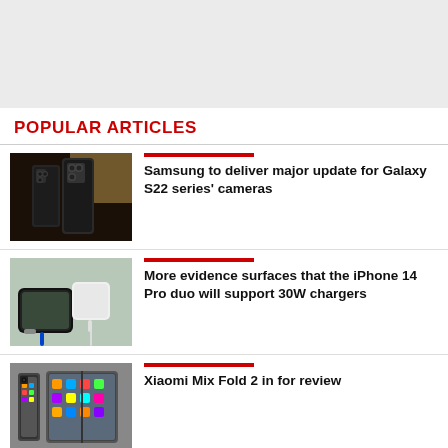[Figure (other): Gray banner area at top of page]
POPULAR ARTICLES
[Figure (photo): Samsung Galaxy S22 Ultra rear camera view]
Samsung to deliver major update for Galaxy S22 series' cameras
[Figure (photo): iPhone with charger and charging brick on desk]
More evidence surfaces that the iPhone 14 Pro duo will support 30W chargers
[Figure (photo): Xiaomi Mix Fold 2 phone folded and unfolded]
Xiaomi Mix Fold 2 in for review